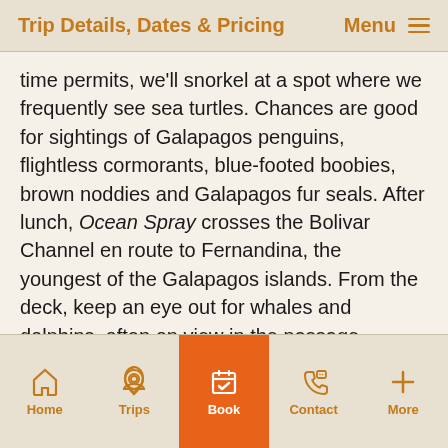Trip Details, Dates & Pricing  Menu
time permits, we'll snorkel at a spot where we frequently see sea turtles. Chances are good for sightings of Galapagos penguins, flightless cormorants, blue-footed boobies, brown noddies and Galapagos fur seals. After lunch, Ocean Spray crosses the Bolivar Channel en route to Fernandina, the youngest of the Galapagos islands. From the deck, keep an eye out for whales and dolphins, often on view in the passage.
Fernandina has one of the most dynamic and pristine ecosystems on the planet with vivid evidence of
Home  Trips  Book  Contact  More